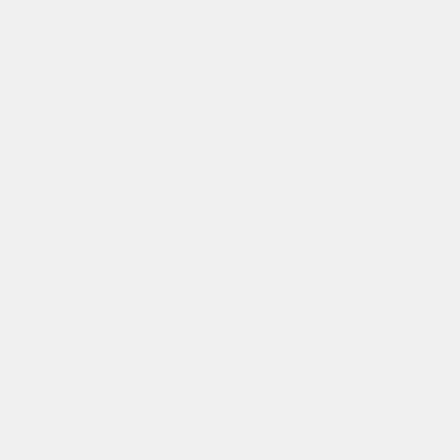search engine marketing agencies, search engine marketing agency, search engine marketing strategy, online marketing, online marketing businesses, local online marketing, online marketing business, small business online marketing, online marketing websites, online marketing near me, online marketing solutions, online marketing campaign, online advertising, best online advertising, online banner advertising, online display advertising, paid online advertising, online marketing plans, online marketing agencies, online marketing firm, online marketing companies, best online marketing company, online advertisers, online advertising maker, online advertising marketer, online marketing services, online advertising services, ecommerce marketing agency, ecommerce website development c…, ecommerce web design company, ecommerce website design compa…, ecommerce website design, build a ecommerce website, ecommerce marketing, ecommerce website development